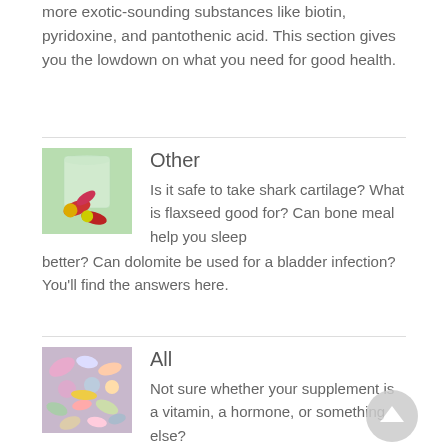more exotic-sounding substances like biotin, pyridoxine, and pantothenic acid. This section gives you the lowdown on what you need for good health.
[Figure (photo): A clear plastic beaker/cup with red and yellow capsule pills spilling out, on a green background]
Other
Is it safe to take shark cartilage? What is flaxseed good for? Can bone meal help you sleep better? Can dolomite be used for a bladder infection? You’ll find the answers here.
[Figure (photo): A colorful assortment of various pills, tablets, and capsules in pink, white, yellow, green, and other colors]
All
Not sure whether your supplement is a vitamin, a hormone, or something else?